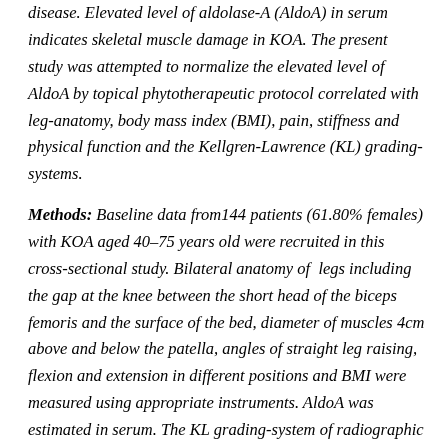disease. Elevated level of aldolase-A (AldoA) in serum indicates skeletal muscle damage in KOA. The present study was attempted to normalize the elevated level of AldoA by topical phytotherapeutic protocol correlated with leg-anatomy, body mass index (BMI), pain, stiffness and physical function and the Kellgren-Lawrence (KL) grading-systems.
Methods: Baseline data from144 patients (61.80% females) with KOA aged 40-75 years old were recruited in this cross-sectional study. Bilateral anatomy of legs including the gap at the knee between the short head of the biceps femoris and the surface of the bed, diameter of muscles 4cm above and below the patella, angles of straight leg raising, flexion and extension in different positions and BMI were measured using appropriate instruments. AldoA was estimated in serum. The KL grading-system of radiographic KOA and overall pain under VAS and pain, stiffness and physical function under WOMAC index were also evaluated. All the parameters were compared